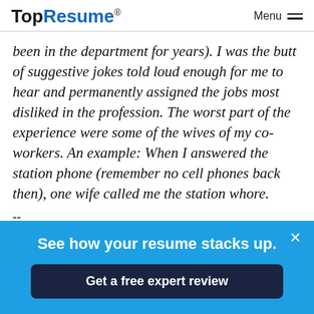TopResume® Menu
been in the department for years). I was the butt of suggestive jokes told loud enough for me to hear and permanently assigned the jobs most disliked in the profession. The worst part of the experience were some of the wives of my co-workers. An example: When I answered the station phone (remember no cell phones back then), one wife called me the station whore.
--
See how your resume stacks up.
Get a free expert review